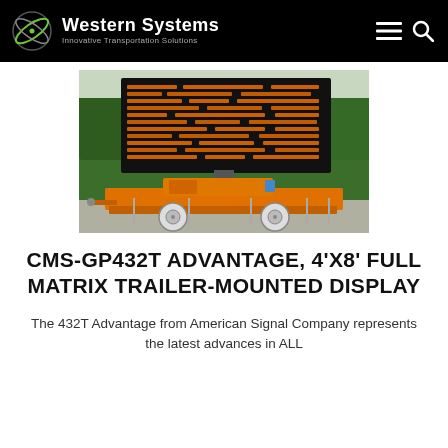Western Systems — Innovative Transportation Solutions
[Figure (photo): Orange trailer-mounted LED matrix variable message sign (CMS-GP432T Advantage) displayed outdoors with trees in background. The sign shows an orange LED dot-matrix display panel mounted on an orange wheeled trailer with a generator unit.]
CMS-GP432T ADVANTAGE, 4'X8' FULL MATRIX TRAILER-MOUNTED DISPLAY
The 432T Advantage from American Signal Company represents the latest advances in ALL